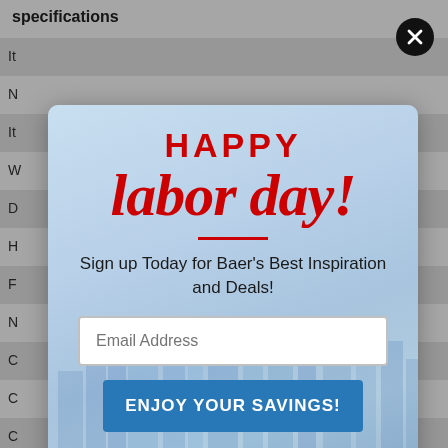specifications
[Figure (screenshot): A popup modal overlay on a retail website showing a Happy Labor Day promotion. Contains 'HAPPY' in bold red, 'labor day!' in large red script, a red divider line, tagline text, email field, blue savings button, and 'NO THANKS' link. Background shows a city skyline image. A close button (X) is in the top-right corner.]